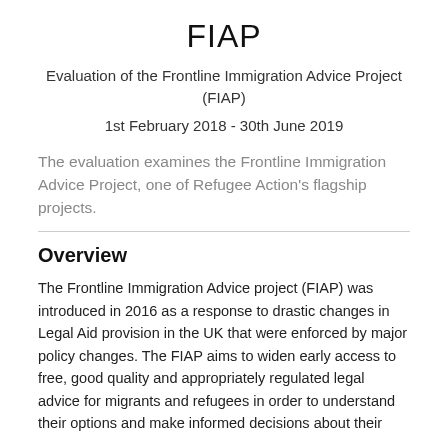FIAP
Evaluation of the Frontline Immigration Advice Project (FIAP)
1st February 2018 - 30th June 2019
The evaluation examines the Frontline Immigration Advice Project, one of Refugee Action's flagship projects.
Overview
The Frontline Immigration Advice project (FIAP) was introduced in 2016 as a response to drastic changes in Legal Aid provision in the UK that were enforced by major policy changes. The FIAP aims to widen early access to free, good quality and appropriately regulated legal advice for migrants and refugees in order to understand their options and make informed decisions about their